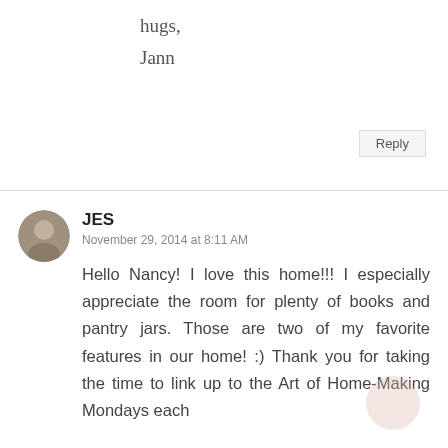hugs,
Jann
Reply
JES
November 29, 2014 at 8:11 AM
Hello Nancy! I love this home!!! I especially appreciate the room for plenty of books and pantry jars. Those are two of my favorite features in our home! :) Thank you for taking the time to link up to the Art of Home-Making Mondays each